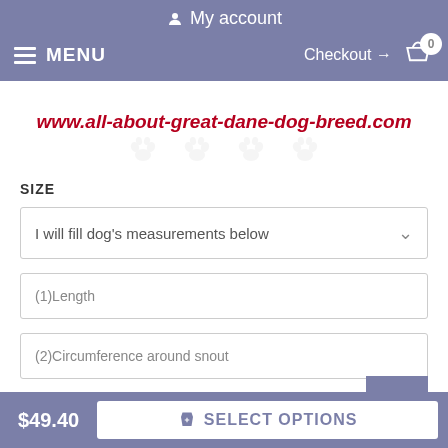My account
MENU   Checkout → 0
[Figure (screenshot): Website banner showing URL www.all-about-great-dane-dog-breed.com in bold red italic text with paw print watermarks]
SIZE
I will fill dog's measurements below
(1)Length
(2)Circumference around snout
(3)Eye Line
$49.40
SELECT OPTIONS